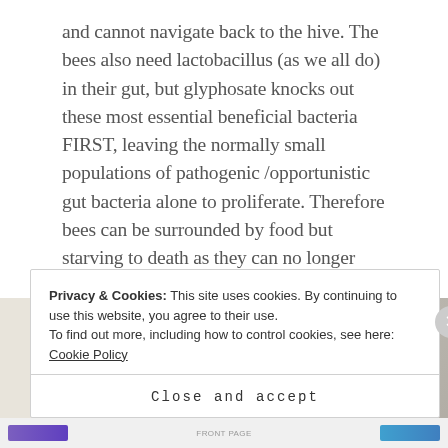and cannot navigate back to the hive. The bees also need lactobacillus (as we all do) in their gut, but glyphosate knocks out these most essential beneficial bacteria FIRST, leaving the normally small populations of pathogenic /opportunistic gut bacteria alone to proliferate. Therefore bees can be surrounded by food but starving to death as they can no longer digest food. Think of the rise in Chrones disease in our young people in recent years.
[Figure (photo): Partial view of a food/recipe website screenshot showing food images on a light background, partially obscured by a cookie consent banner.]
Privacy & Cookies: This site uses cookies. By continuing to use this website, you agree to their use.
To find out more, including how to control cookies, see here: Cookie Policy
Close and accept